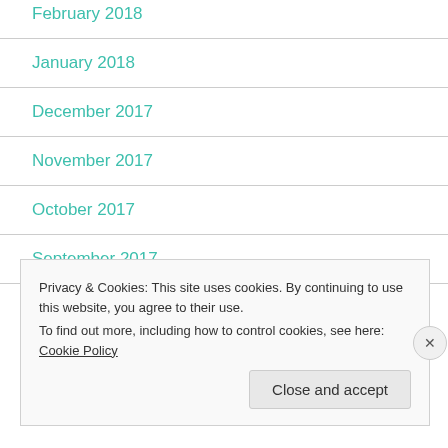February 2018
January 2018
December 2017
November 2017
October 2017
September 2017
Privacy & Cookies: This site uses cookies. By continuing to use this website, you agree to their use. To find out more, including how to control cookies, see here: Cookie Policy